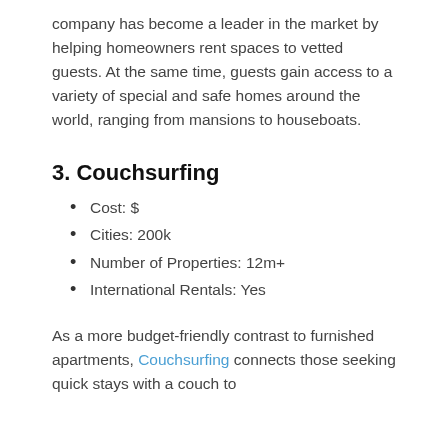company has become a leader in the market by helping homeowners rent spaces to vetted guests. At the same time, guests gain access to a variety of special and safe homes around the world, ranging from mansions to houseboats.
3. Couchsurfing
Cost: $
Cities: 200k
Number of Properties: 12m+
International Rentals: Yes
As a more budget-friendly contrast to furnished apartments, Couchsurfing connects those seeking quick stays with a couch to